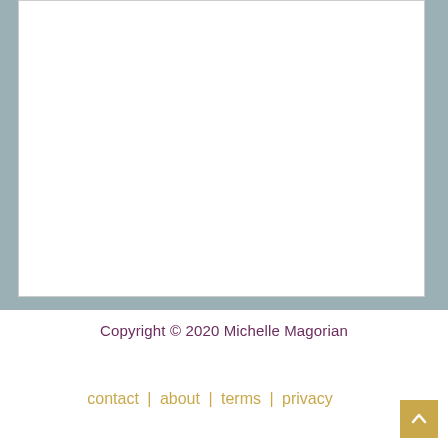Copyright © 2020 Michelle Magorian
contact | about | terms | privacy